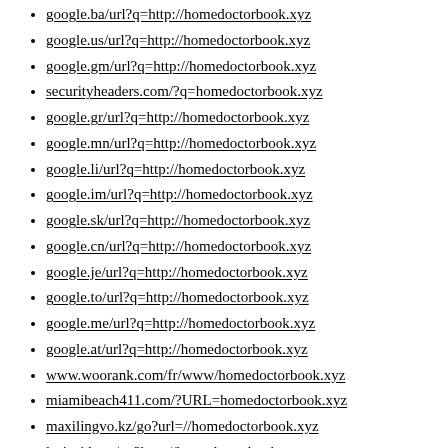google.ba/url?q=http://homedoctorbook.xyz
google.us/url?q=http://homedoctorbook.xyz
google.gm/url?q=http://homedoctorbook.xyz
securityheaders.com/?q=homedoctorbook.xyz
google.gr/url?q=http://homedoctorbook.xyz
google.mn/url?q=http://homedoctorbook.xyz
google.li/url?q=http://homedoctorbook.xyz
google.im/url?q=http://homedoctorbook.xyz
google.sk/url?q=http://homedoctorbook.xyz
google.cn/url?q=http://homedoctorbook.xyz
google.je/url?q=http://homedoctorbook.xyz
google.to/url?q=http://homedoctorbook.xyz
google.me/url?q=http://homedoctorbook.xyz
google.at/url?q=http://homedoctorbook.xyz
www.woorank.com/fr/www/homedoctorbook.xyz
miamibeach411.com/?URL=homedoctorbook.xyz
maxilingvo.kz/go?url=//homedoctorbook.xyz
lp-inside.ru/go?http://homedoctorbook.xyz
mblg.tv/jmp?url=http://homedoctorbook.xyz